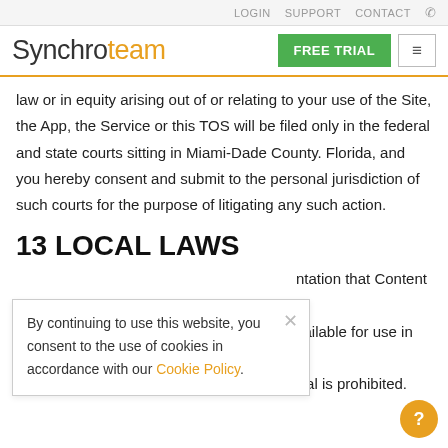LOGIN   SUPPORT   CONTACT   ☎
Synchroteam — FREE TRIAL
law or in equity arising out of or relating to your use of the Site, the App, the Service or this TOS will be filed only in the federal and state courts sitting in Miami-Dade County. Florida, and you hereby consent and submit to the personal jurisdiction of such courts for the purpose of litigating any such action.
13 LOCAL LAWS
By continuing to use this website, you consent to the use of cookies in accordance with our Cookie Policy.
ntation that Content through available for use in States. Access to the Service from jurisdictions where such access is illegal is prohibited.